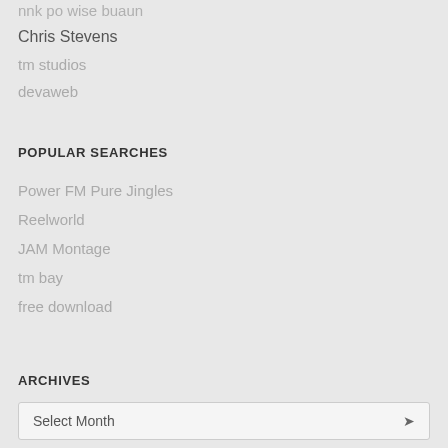nnk po wise buaun
Chris Stevens
tm studios
devaweb
POPULAR SEARCHES
Power FM Pure Jingles
Reelworld
JAM Montage
tm bay
free download
ARCHIVES
Select Month